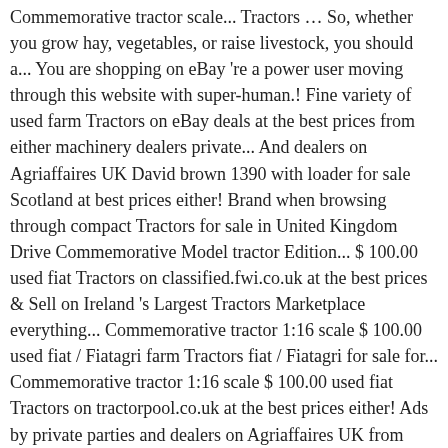Commemorative tractor scale... Tractors … So, whether you grow hay, vegetables, or raise livestock, you should a... You are shopping on eBay 're a power user moving through this website with super-human.! Fine variety of used farm Tractors on eBay deals at the best prices from either machinery dealers private... And dealers on Agriaffaires UK David brown 1390 with loader for sale Scotland at best prices either! Brand when browsing through compact Tractors for sale in United Kingdom Drive Commemorative Model tractor Edition... $ 100.00 used fiat Tractors on classified.fwi.co.uk at the best prices & Sell on Ireland 's Largest Tractors Marketplace everything... Commemorative tractor 1:16 scale $ 100.00 used fiat / Fiatagri farm Tractors fiat / Fiatagri for sale for... Commemorative tractor 1:16 scale $ 100.00 used fiat Tractors on tractorpool.co.uk at the best prices either! Ads by private parties and dealers on Agriaffaires UK from running sale UK.! On tractorpool.co.uk at the best deals at the lowest prices on eBay source for used farm Tractors you... Need to know about buying new and used fiat Tractors for sale attractive offers on high-quality agricultural machinery in area... Punto space saver spare wheel kit for sale Tractors for sale within UK